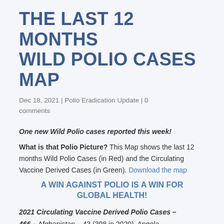THE LAST 12 MONTHS WILD POLIO CASES MAP
Dec 18, 2021 | Polio Eradication Update | 0 comments
One new Wild Polio cases reported this week!
What is that Polio Picture? This Map shows the last 12 months Wild Polio Cases (in Red) and the Circulating Vaccine Derived Cases (in Green). Download the map
A WIN AGAINST POLIO IS A WIN FOR GLOBAL HEALTH!
2021 Circulating Vaccine Derived Polio Cases – 466 – Afghanistan – 43 (308 in 2020), Angola